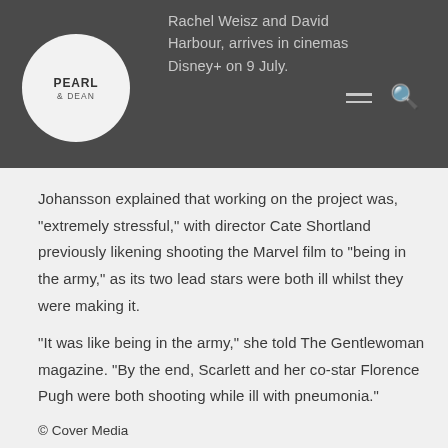Rachel Weisz and David Harbour, arrives in cinemas Disney+ on 9 July.
[Figure (logo): Pearl & Dean logo in a white circle on a dark grey header bar]
Johansson explained that working on the project was, "extremely stressful," with director Cate Shortland previously likening shooting the Marvel film to "being in the army," as its two lead stars were both ill whilst they were making it.
"It was like being in the army," she told The Gentlewoman magazine. "By the end, Scarlett and her co-star Florence Pugh were both shooting while ill with pneumonia."
© Cover Media